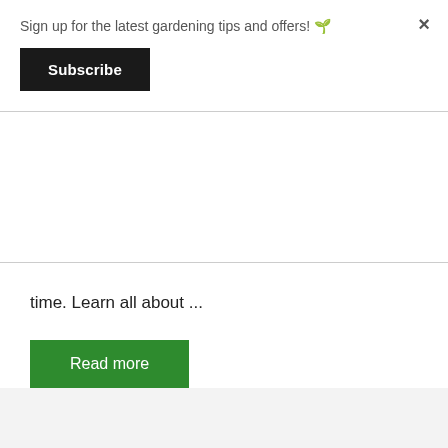Sign up for the latest gardening tips and offers! 🌱
Subscribe
time. Learn all about ...
Read more
Growing Food
food , harvest , vegetable